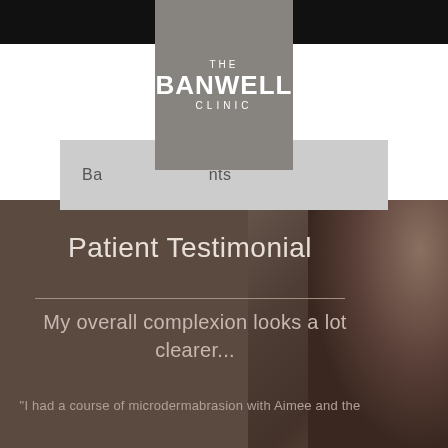[Figure (logo): The Banwell Clinic logo — grey square box with white text reading THE BANWELL CLINIC]
Ba...nts
Patient Testimonial
My overall complexion looks a lot clearer...
"I had a course of microdermabrasion with Aimee and the